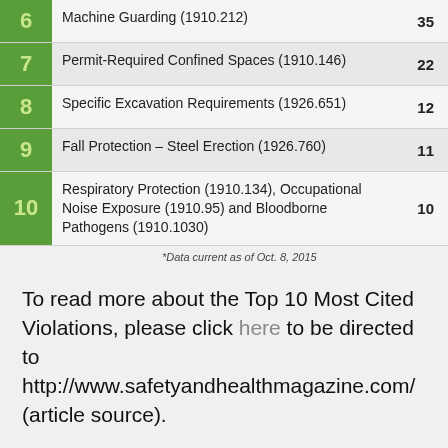| # | Violation | Count |
| --- | --- | --- |
| 6 | Machine Guarding (1910.212) | 35 |
| 7 | Permit-Required Confined Spaces (1910.146) | 22 |
| 8 | Specific Excavation Requirements (1926.651) | 12 |
| 9 | Fall Protection – Steel Erection (1926.760) | 11 |
| 10 | Respiratory Protection (1910.134), Occupational Noise Exposure (1910.95) and Bloodborne Pathogens (1910.1030) | 10 |
*Data current as of Oct. 8, 2015
To read more about the Top 10 Most Cited Violations, please click here to be directed to http://www.safetyandhealthmagazine.com/ (article source).
[Figure (illustration): Social media icons: Facebook (f), Twitter (bird), LinkedIn (in)]